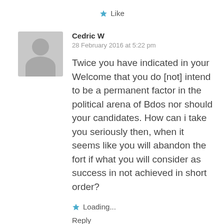Like
Cedric W
28 February 2016 at 5:22 pm
Twice you have indicated in your Welcome that you do [not] intend to be a permanent factor in the political arena of Bdos nor should your candidates. How can i take you seriously then, when it seems like you will abandon the fort if what you will consider as success in not achieved in short order?
Loading...
Reply